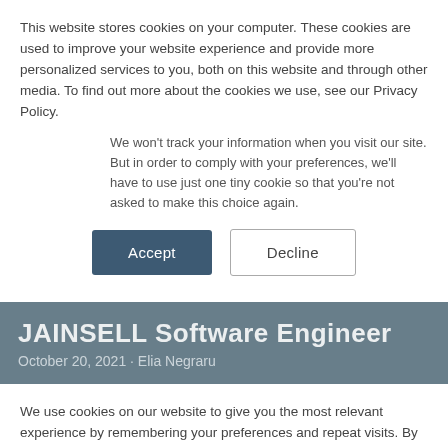This website stores cookies on your computer. These cookies are used to improve your website experience and provide more personalized services to you, both on this website and through other media. To find out more about the cookies we use, see our Privacy Policy.
We won't track your information when you visit our site. But in order to comply with your preferences, we'll have to use just one tiny cookie so that you're not asked to make this choice again.
Accept
Decline
JAINSELL Software Engineer
October 20, 2021  Elia Negraru
We use cookies on our website to give you the most relevant experience by remembering your preferences and repeat visits. By clicking "Accept", you consent to the use of ALL the cookies.
Cookie settings
ACCEPT